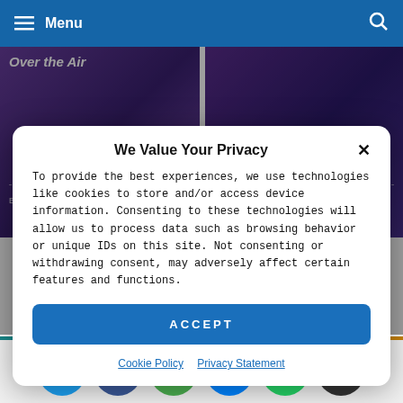Menu
[Figure (screenshot): Background website with two article cards showing 'Over the Air' and an article by AmpedSoftware, dated Aug 12, 2022, on a purple gradient background]
We Value Your Privacy
To provide the best experiences, we use technologies like cookies to store and/or access device information. Consenting to these technologies will allow us to process data such as browsing behavior or unique IDs on this site. Not consenting or withdrawing consent, may adversely affect certain features and functions.
ACCEPT
Cookie Policy   Privacy Statement
[Figure (screenshot): Bottom article cards showing 'Robbery Case' on teal/blue background and 'Talent Gap' on golden/brown background]
[Figure (screenshot): Social share buttons: Twitter, Facebook, Email, Messenger, WhatsApp, Share]